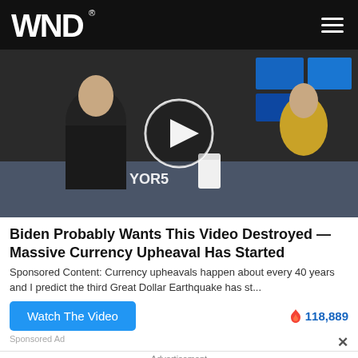WND
[Figure (screenshot): Video thumbnail showing two people seated at a desk in a studio with 'YOR5' text visible, with a circular play button overlay]
Biden Probably Wants This Video Destroyed — Massive Currency Upheaval Has Started
Sponsored Content: Currency upheavals happen about every 40 years and I predict the third Great Dollar Earthquake has st...
Watch The Video
🔥 118,889
Sponsored Ad
Advertisement
10 Gorgeous Asian Actresses No Man Can Resist